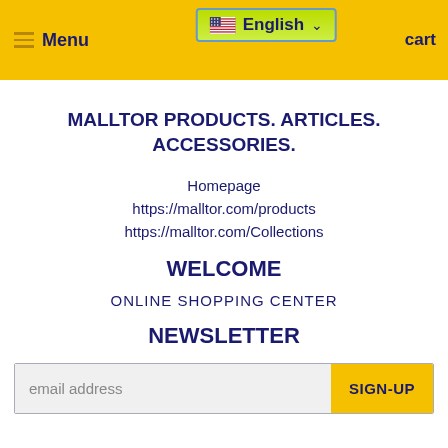≡ Menu  English  cart
MALLTOR PRODUCTS. ARTICLES. ACCESSORIES.
Homepage
https://malltor.com/products
https://malltor.com/Collections
WELCOME
ONLINE SHOPPING CENTER
NEWSLETTER
email address  SIGN-UP